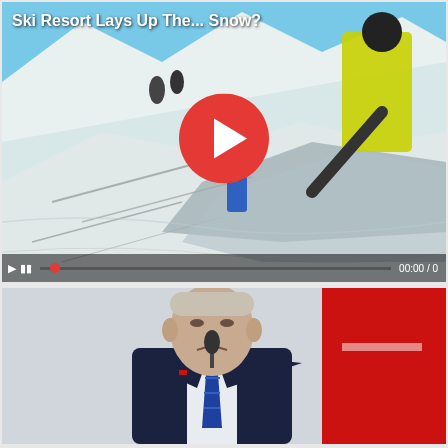[Figure (screenshot): Video thumbnail showing skiers laying protective fabric/fleece over snow on a mountain slope. Red YouTube play button overlay in center. Title text 'Ski Resort Lays Up The... Snow?' in white at top left. Video progress bar at bottom showing 00:00/0.]
[Figure (photo): Photo of a man in a dark navy suit with a striped blue tie at a podium/microphone, with a red and white background. The man appears to be speaking or grimacing.]